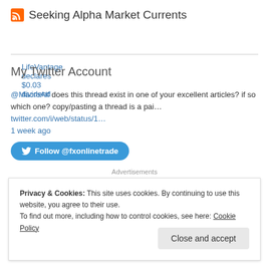Seeking Alpha Market Currents
LifeVantage declares $0.03 dividend
My Twitter Account
@MacroAlf does this thread exist in one of your excellent articles? if so which one? copy/pasting a thread is a pai… twitter.com/i/web/status/1…
1 week ago
[Figure (other): Follow @fxonlinetrade Twitter button]
Advertisements
Privacy & Cookies: This site uses cookies. By continuing to use this website, you agree to their use.
To find out more, including how to control cookies, see here: Cookie Policy
Close and accept